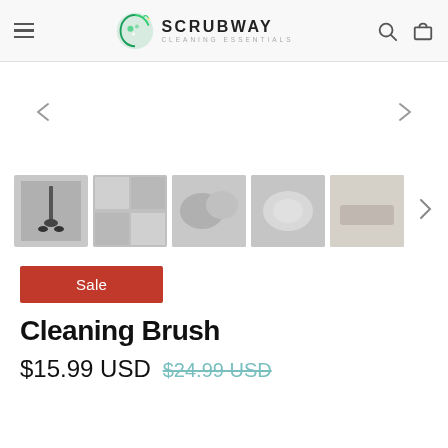Scrubway Cleaning Essentials - navigation header with hamburger menu, logo, search and cart icons
[Figure (screenshot): Product image carousel area with left and right navigation arrows, showing 5 product thumbnail images of a cleaning brush in use]
Sale
Cleaning Brush
$15.99 USD $24.99 USD (strikethrough)